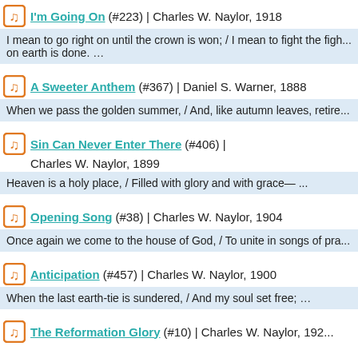I'm Going On (#223) | Charles W. Naylor, 1918
I mean to go right on until the crown is won; / I mean to fight the figh... on earth is done. …
A Sweeter Anthem (#367) | Daniel S. Warner, 1888
When we pass the golden summer, / And, like autumn leaves, retire...
Sin Can Never Enter There (#406) | Charles W. Naylor, 1899
Heaven is a holy place, / Filled with glory and with grace— ...
Opening Song (#38) | Charles W. Naylor, 1904
Once again we come to the house of God, / To unite in songs of pra...
Anticipation (#457) | Charles W. Naylor, 1900
When the last earth-tie is sundered, / And my soul set free; …
The Reformation Glory (#10) | Charles W. Naylor, 192...